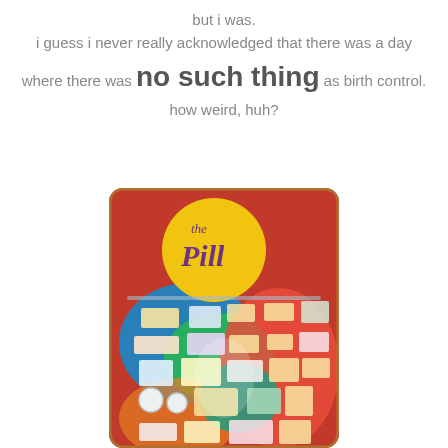but i was. i guess i never really acknowledged that there was a day where there was no such thing as birth control. how weird, huh?
[Figure (photo): A museum display case titled 'the Pill' featuring colorful psychedelic background art in red, blue, green, orange and pink, with various birth control pill packages and contraceptive devices mounted on the display board under a clear acrylic cover.]